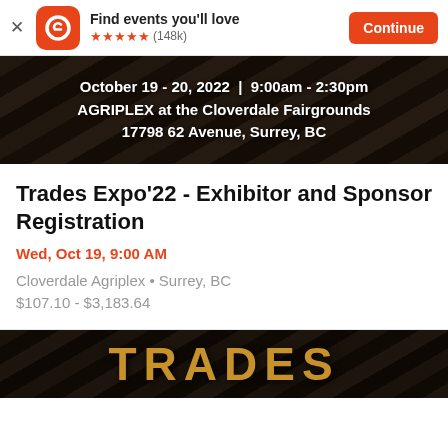[Figure (screenshot): App store banner with Eventbrite logo (orange rounded square with white 'e'), text 'Find events you'll love', five orange stars and '(148k)' reviews, and orange 'Continue' button. Close X on left.]
[Figure (photo): Dark industrial warehouse/fairgrounds interior background image with overlaid white text: 'October 19 - 20, 2022 | 9:00am - 2:30pm', 'AGRIPLEX at the Cloverdale Fairgrounds', '17798 62 Avenue, Surrey, BC']
Trades Expo'22 - Exhibitor and Sponsor Registration
Wed, Oct 19, 9:00 AM
Cloverdale Agriplex • Surrey, BC
$107.10 - $3,183.64
[Figure (photo): Bottom dark industrial background banner with large golden/amber 'TRADES' text in heavy block letters]